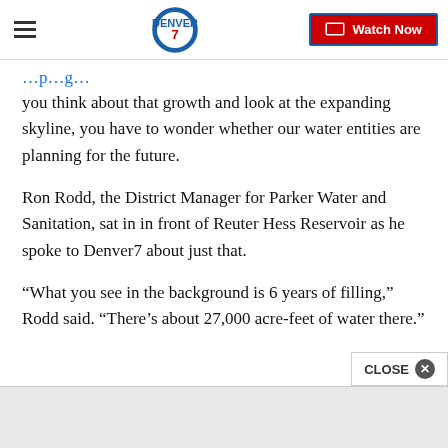Denver7 navigation bar with logo and Watch Now button
you think about that growth and look at the expanding skyline, you have to wonder whether our water entities are planning for the future.
Ron Rodd, the District Manager for Parker Water and Sanitation, sat in in front of Reuter Hess Reservoir as he spoke to Denver7 about just that.
“What you see in the background is 6 years of filling,” Rodd said. “There’s about 27,000 acre-feet of water there.”